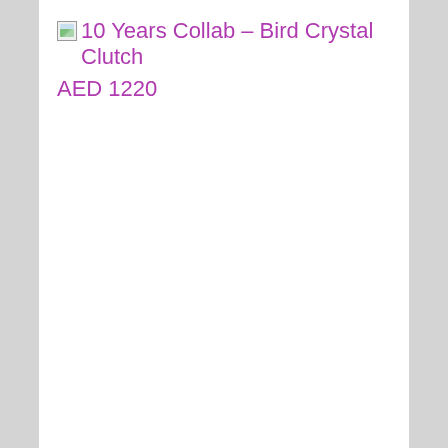10 Years Collab – Bird Crystal Clutch AED 1220